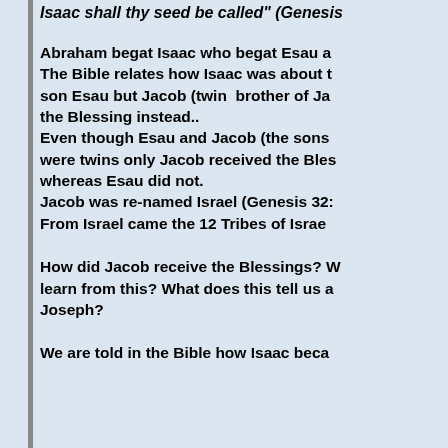Isaac shall thy seed be called" (Genesis
Abraham begat Isaac who begat Esau a The Bible relates how Isaac was about t son Esau but Jacob (twin brother of Ja the Blessing instead.. Even though Esau and Jacob (the sons were twins only Jacob received the Bles whereas Esau did not. Jacob was re-named Israel (Genesis 32: From Israel came the 12 Tribes of Israe
How did Jacob receive the Blessings? W learn from this? What does this tell us a Joseph?
We are told in the Bible how Isaac beca